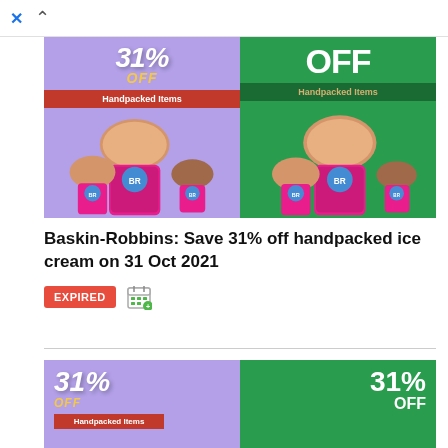[Figure (screenshot): Baskin-Robbins promotional image showing two panels side by side — left panel with purple background showing 31% OFF on Handpacked Items, right panel with green background also showing OFF on Handpacked Items, both featuring pink BR ice cream cups.]
Baskin-Robbins: Save 31% off handpacked ice cream on 31 Oct 2021
EXPIRED
[Figure (screenshot): Second Baskin-Robbins promotional image — left purple panel showing 31% OFF with Handpacked Items ribbon, right green panel showing 31% OFF with Handpacked Items ribbon, ice cream cups visible at bottom.]